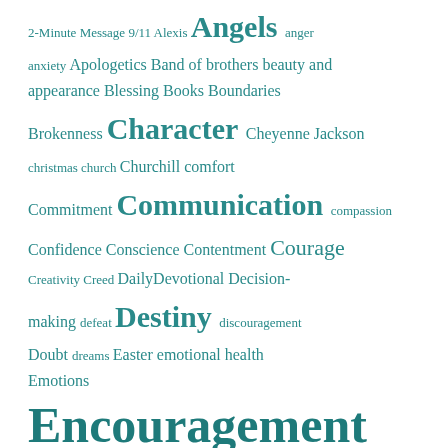2-Minute Message 9/11 Alexis Angels anger anxiety Apologetics Band of brothers beauty and appearance Blessing Books Boundaries Brokenness Character Cheyenne Jackson christmas church Churchill comfort Commitment Communication compassion Confidence Conscience Contentment Courage Creativity Creed DailyDevotional Decision-making defeat Destiny discouragement Doubt dreams Easter emotional health Emotions Encouragement Encouragement for associate level leaders Encouragement for church leaders End times